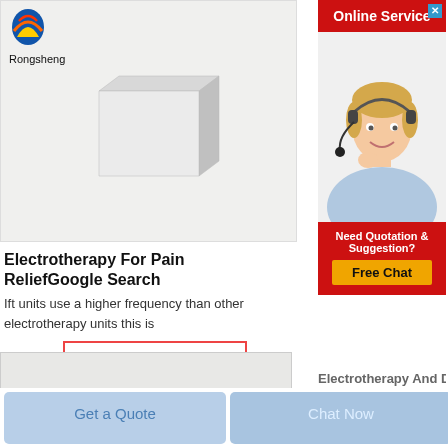[Figure (photo): Rongsheng logo (globe icon) with company name 'Rongsheng' and a white rectangular product (electrotherapy unit) on grey background]
Electrotherapy For Pain ReliefGoogle Search
Ift units use a higher frequency than other electrotherapy units this is
Get Price
[Figure (photo): Online Service banner with red background, close button (x), photo of smiling blonde woman wearing headset, 'Need Quotation & Suggestion?' text in red box, and yellow 'Free Chat' button]
Electrotherapy And Di...
Get a Quote
Chat Now